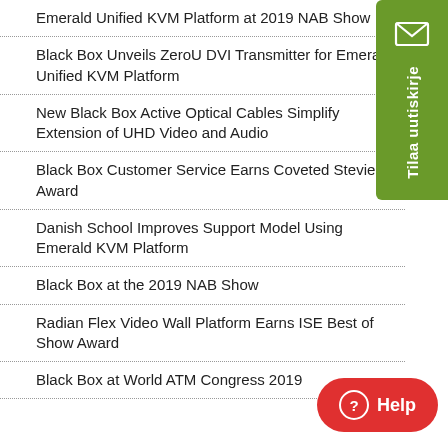Emerald Unified KVM Platform at 2019 NAB Show
Black Box Unveils ZeroU DVI Transmitter for Emerald Unified KVM Platform
New Black Box Active Optical Cables Simplify Extension of UHD Video and Audio
Black Box Customer Service Earns Coveted Stevie Award
Danish School Improves Support Model Using Emerald KVM Platform
Black Box at the 2019 NAB Show
Radian Flex Video Wall Platform Earns ISE Best of Show Award
Black Box at World ATM Congress 2019
[Figure (illustration): Green sidebar button with envelope icon and vertical text 'Tilaa uutiskirje' (Subscribe to newsletter)]
[Figure (illustration): Red rounded button with question mark circle icon and 'Help' text]